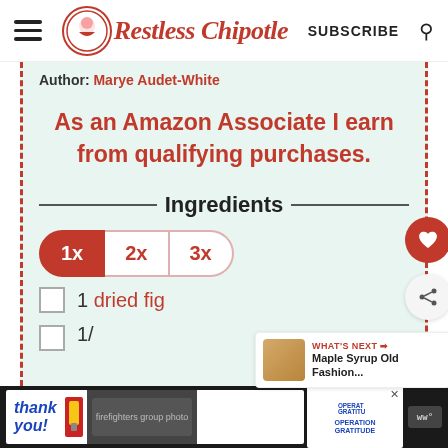Restless Chipotle — SUBSCRIBE
Author: Marye Audet-White
As an Amazon Associate I earn from qualifying purchases.
Ingredients
1x  2x  3x (multiplier buttons)
1 dried fig
1/...
[Figure (screenshot): Advertisement banner: Thank you / Operation Gratitude with firefighter photo]